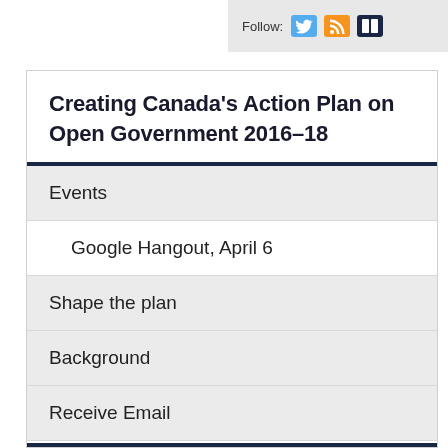[Figure (infographic): Social media follow bar with Twitter, RSS, and quotes icons]
Creating Canada’s Action Plan on Open Government 2016–18
Events
Google Hangout, April 6
Shape the plan
Background
Receive Email